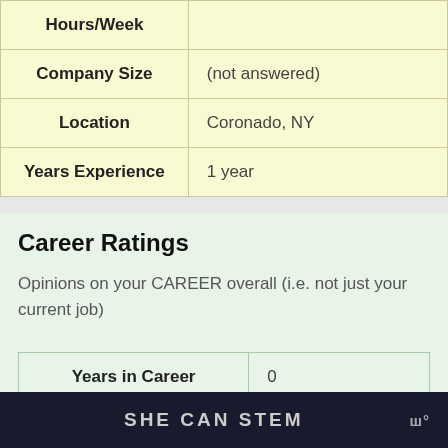| Field | Value |
| --- | --- |
| Hours/Week |  |
| Company Size | (not answered) |
| Location | Coronado, NY |
| Years Experience | 1 year |
Career Ratings
Opinions on your CAREER overall (i.e. not just your current job)
| Field | Value |
| --- | --- |
| Years in Career | 0 |
SHE CAN STEM